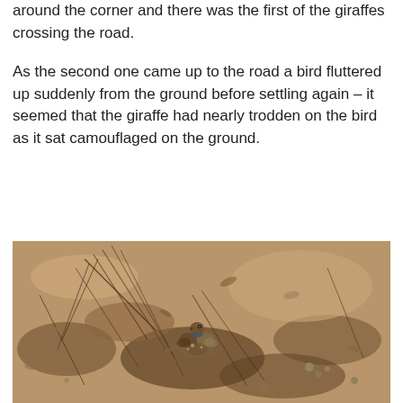around the corner and there was the first of the giraffes crossing the road.
As the second one came up to the road a bird fluttered up suddenly from the ground before settling again – it seemed that the giraffe had nearly trodden on the bird as it sat camouflaged on the ground.
[Figure (photo): A camouflaged bird sitting on dry, sandy ground among dried twigs and leaves, blending almost perfectly with its surroundings.]